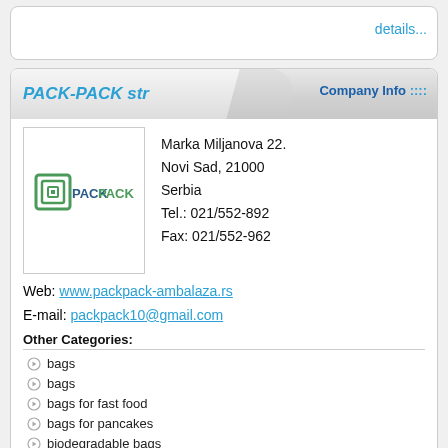details...
PACK-PACK str
Company Info ::::
[Figure (logo): PACK PACK company logo with green square spiral icon and text PACK PACK]
Marka Miljanova 22.
Novi Sad, 21000
Serbia
Tel.: 021/552-892
Fax: 021/552-962
Web: www.packpack-ambalaza.rs
E-mail: packpack10@gmail.com
Other Categories:
bags
bags
bags for fast food
bags for pancakes
biodegradable bags
biodegradable bags with handles
board packaging
burek bags